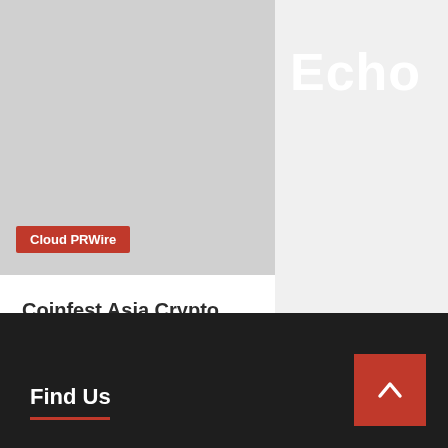Echo
[Figure (photo): Gray placeholder image with Cloud PRWire red badge label]
Cloud PRWire
Coinfest Asia Crypto Festival was a Big Success! Attended by 1.500 People from 52 Countries
6 hours ago  Cloud PR Wire
Find Us